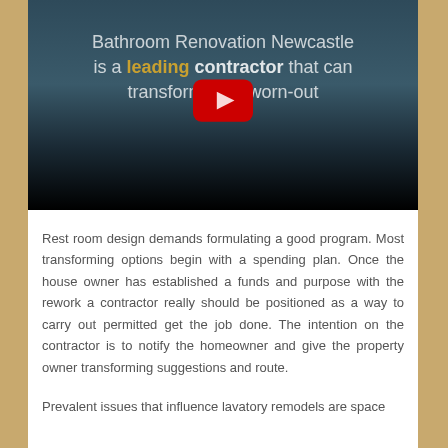[Figure (screenshot): YouTube video embed showing a bathroom renovation video. Text overlay reads 'Bathroom Renovation Newcastle is a leading contractor that can transform your worn-out'. A YouTube play button is visible in the center.]
Rest room design demands formulating a good program. Most transforming options begin with a spending plan. Once the house owner has established a funds and purpose with the rework a contractor really should be positioned as a way to carry out permitted get the job done. The intention on the contractor is to notify the homeowner and give the property owner transforming suggestions and route.
Prevalent issues that influence lavatory remodels are space...